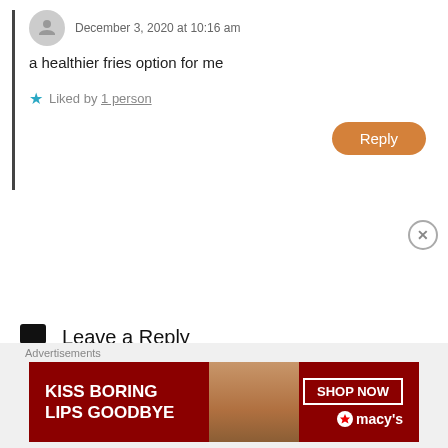December 3, 2020 at 10:16 am
a healthier fries option for me
Liked by 1 person
Reply
Leave a Reply
Your email address will not be published. Required fields are marked *
Advertisements
[Figure (infographic): Macy's advertisement banner: KISS BORING LIPS GOODBYE with SHOP NOW button and Macy's logo]